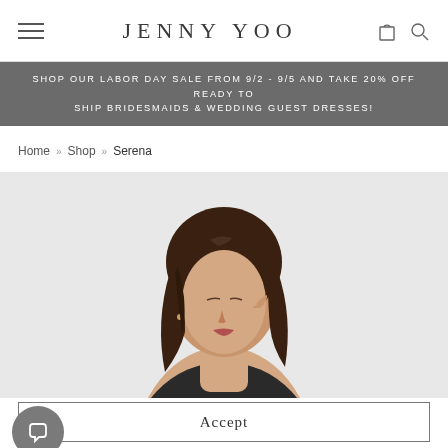JENNY YOO
SHOP OUR LABOR DAY SALE FROM 9/2 - 9/5 AND TAKE 20% OFF READY TO SHIP BRIDESMAIDS & WEDDING GUEST DRESSES!
Home » Shop » Serena
[Figure (photo): Fashion model with dark brown hair, looking down, close-up portrait shot against a light grey background]
We use cookies to ensure that we give you the best experience on our Read more about it here. By using our site, you agree to the use of
Accept